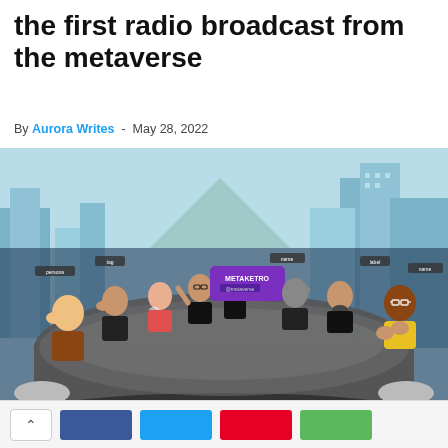the first radio broadcast from the metaverse
By Aurora Writes - May 28, 2022
[Figure (screenshot): A virtual reality metaverse scene showing multiple cartoon avatars sitting and standing around a large conference table in a futuristic high-rise office with a cityscape visible through the windows. A purple branded sign reading 'METAKETRO' is visible in the center. Avatars are applauding.]
Share buttons: Facebook, Twitter, Pinterest, Green share